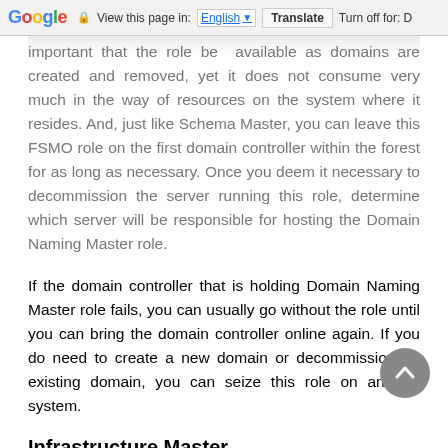Google  View this page in: English [▼]  Translate  Turn off for: D
important that the role be available as domains are created and removed, yet it does not consume very much in the way of resources on the system where it resides. And, just like Schema Master, you can leave this FSMO role on the first domain controller within the forest for as long as necessary. Once you deem it necessary to decommission the server running this role, determine which server will be responsible for hosting the Domain Naming Master role.
If the domain controller that is holding Domain Naming Master role fails, you can usually go without the role until you can bring the domain controller online again. If you do need to create a new domain or decommission an existing domain, you can seize this role on another system.
Infrastructure Master